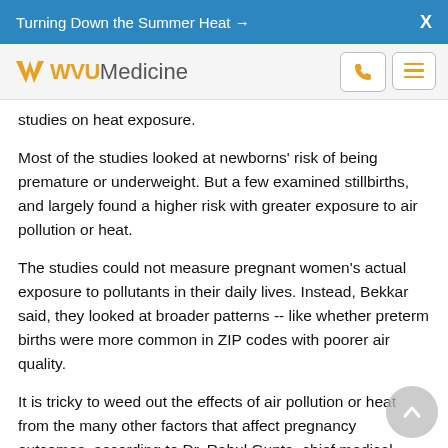Turning Down the Summer Heat →  X
[Figure (logo): WVU Medicine logo with phone and menu navigation icons]
studies on heat exposure.
Most of the studies looked at newborns' risk of being premature or underweight. But a few examined stillbirths, and largely found a higher risk with greater exposure to air pollution or heat.
The studies could not measure pregnant women's actual exposure to pollutants in their daily lives. Instead, Bekkar said, they looked at broader patterns -- like whether preterm births were more common in ZIP codes with poorer air quality.
It is tricky to weed out the effects of air pollution or heat from the many other factors that affect pregnancy outcomes, according to Dr. Rahul Gupta, chief medical officer at the nonprofit March of Dimes.
However, Gupta said, "we're seeing an increasing amount of